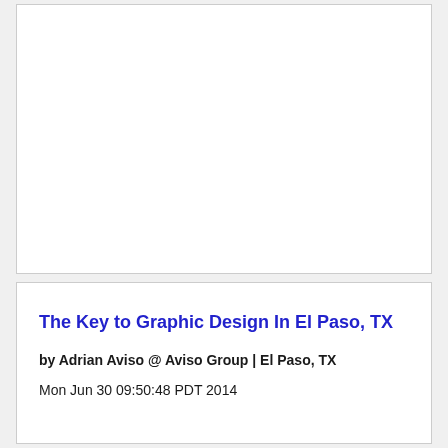The Key to Graphic Design In El Paso, TX
by Adrian Aviso @ Aviso Group | El Paso, TX
Mon Jun 30 09:50:48 PDT 2014